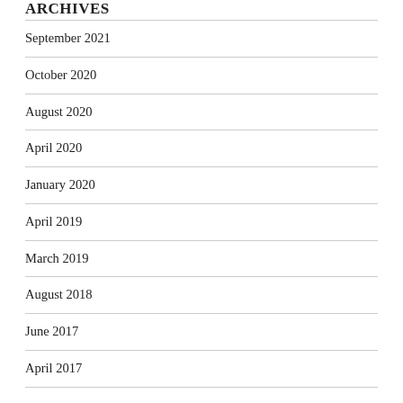ARCHIVES
September 2021
October 2020
August 2020
April 2020
January 2020
April 2019
March 2019
August 2018
June 2017
April 2017